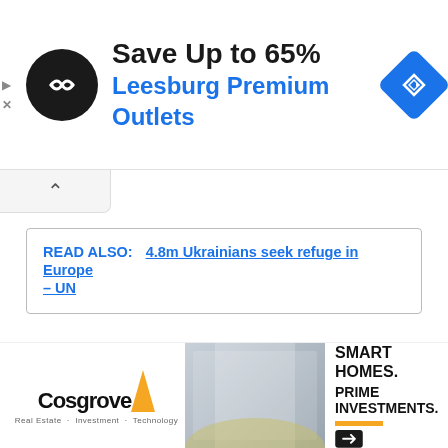[Figure (screenshot): Advertisement banner: black circle logo with arrows icon, 'Save Up to 65%' in bold black text, 'Leesburg Premium Outlets' in blue text, blue diamond navigation icon on the right. Small play and X controls on the left edge.]
[Figure (screenshot): Collapse/accordion chevron-up button element below the ad banner.]
READ ALSO:  4.8m Ukrainians seek refuge in Europe – UN
Sudan was ruled with an iron fist for almost 30 years by the Islamist Omar al-Bashir.
[Figure (infographic): Social media sharing icons row: WhatsApp (green), Facebook (dark blue), Twitter (light blue), LinkedIn (dark blue), Telegram (blue), Pinterest (red), Reddit (orange-red), Email (dark red envelope).]
[Figure (screenshot): Bottom advertisement: Cosgrove Real Estate logo on the left with yellow flame icon, photo of white apartment building in center, 'SMART HOMES. PRIME INVESTMENTS.' text with orange bar on the right.]